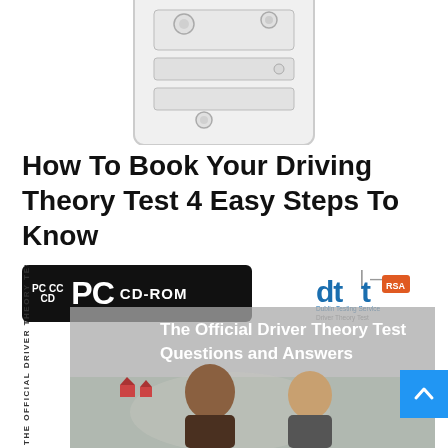[Figure (illustration): Partial image of a white computer tower/desktop unit with buttons and drives, cropped at the top]
How To Book Your Driving Theory Test 4 Easy Steps To Know
[Figure (screenshot): Composite image showing: a black PC CD-ROM badge label, a dtt RSA Driver Theory Test logo in the top right, vertical text reading 'THE OFFICIAL DRIVER THEORY TEST: QU...', and a book cover showing 'The Official Driver Theory Test Questions and Answers' with a photo of people in a car, with a blue scroll-to-top button overlay]